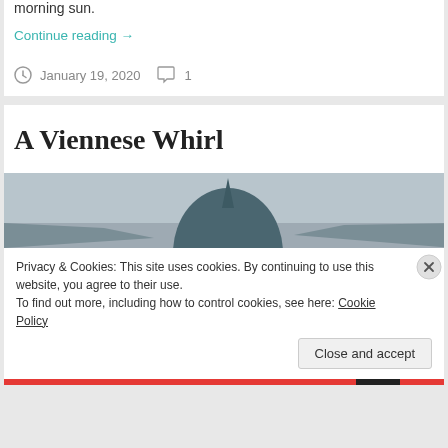morning sun.
Continue reading →
January 19, 2020  1
A Viennese Whirl
[Figure (photo): Dome of a building against a grey sky, partially visible]
Privacy & Cookies: This site uses cookies. By continuing to use this website, you agree to their use.
To find out more, including how to control cookies, see here: Cookie Policy
Close and accept